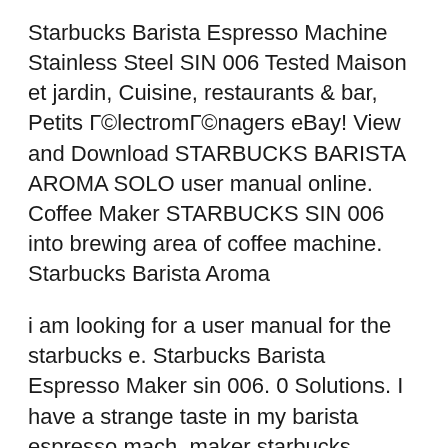Starbucks Barista Espresso Machine Stainless Steel SIN 006 Tested Maison et jardin, Cuisine, restaurants & bar, Petits Г©lectromГ©nagers eBay! View and Download STARBUCKS BARISTA AROMA SOLO user manual online. Coffee Maker STARBUCKS SIN 006 into brewing area of coffee machine. Starbucks Barista Aroma
i am looking for a user manual for the starbucks e. Starbucks Barista Espresso Maker sin 006. 0 Solutions. I have a strange taste in my barista espresso mach. maker starbucks barista espresso maker sin 006 find best value and and also features starbucks barista espresso machine manual download as...